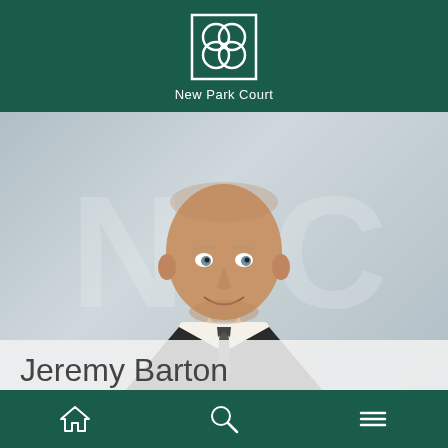[Figure (logo): New Park Court Chambers logo — white square outline with four overlapping circles forming a flower/clover pattern, on dark teal background. Text below reads 'New Park Court'.]
[Figure (photo): Professional headshot of a bald middle-aged man in a dark suit and tie, smiling, against a light grey background with a faint NPC watermark.]
Jeremy Barton
Member from 2004
[Figure (other): Bottom navigation bar with home icon, search icon, and hamburger menu icon on dark teal background.]